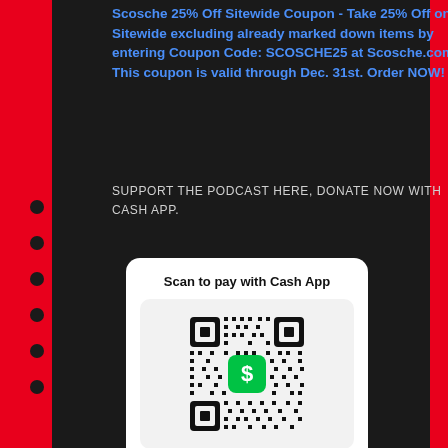Scosche 25% Off Sitewide Coupon - Take 25% Off on Sitewide excluding already marked down items by entering Coupon Code: SCOSCHE25 at Scosche.com! This coupon is valid through Dec. 31st. Order NOW!
SUPPORT THE PODCAST HERE, DONATE NOW WITH CASH APP.
[Figure (other): Cash App QR code payment card showing 'Scan to pay with Cash App', a QR code with Cash App green dollar sign logo in center, name Sura Khan and handle $SuraKhan]